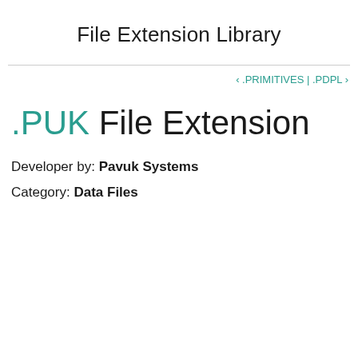File Extension Library
‹ .PRIMITIVES | .PDPL ›
.PUK File Extension
Developer by: Pavuk Systems
Category: Data Files